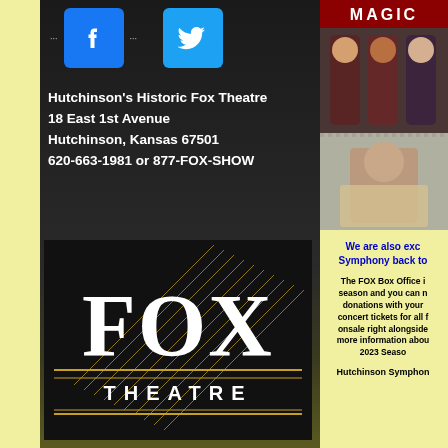[Figure (logo): Facebook icon - blue square with white F]
[Figure (logo): Twitter icon - blue square with white bird]
Hutchinson's Historic Fox Theatre
18 East 1st Avenue
Hutchinson, Kansas 67501
620-663-1981 or 877-FOX-SHOW
[Figure (logo): FOX THEATRE logo - white and gold art deco style on black background]
[Figure (photo): Magic show performers photo collage - top label MAGIC, group of three performers in dark suits, solo male performer]
We are also exc Symphony back to
The FOX Box Office i season and you can n donations with your concert tickets for all f onsale right alongside more information abou 2023 Seaso
Hutchinson Symphon